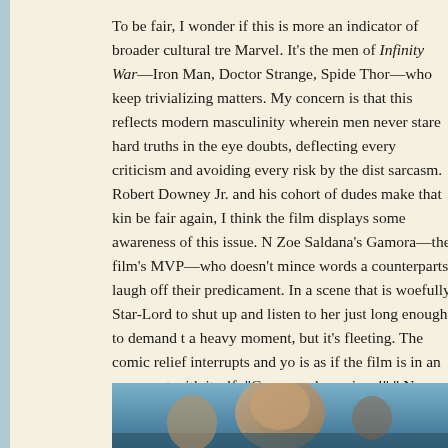To be fair, I wonder if this is more an indicator of broader cultural tre Marvel. It's the men of Infinity War—Iron Man, Doctor Strange, Spide Thor—who keep trivializing matters. My concern is that this reflects modern masculinity wherein men never stare hard truths in the eye doubts, deflecting every criticism and avoiding every risk by the dist sarcasm. Robert Downey Jr. and his cohort of dudes make that kin be fair again, I think the film displays some awareness of this issue. N Zoe Saldana's Gamora—the film's MVP—who doesn't mince words a counterparts laugh off their predicament. In a scene that is woefully Star-Lord to shut up and listen to her just long enough to demand t a heavy moment, but it's fleeting. The comic relief interrupts and yo is as if the film is in an argument with itself: "Come on, be serious!" " Now, to be fair yet again, the comedic elements do recede by the la deliver on its pledge of a no-holds-barred conclusion. This conclusi of the MCU's finest accomplishments to date. But it's too little too la Saving Private Ryan and that Marvel doesn't want to traumatize any much more dramatic potential and deserved a far less flippant treat
[Figure (photo): Partial image visible at the bottom of the page, appears to be a scene from the film with blue/teal tones]